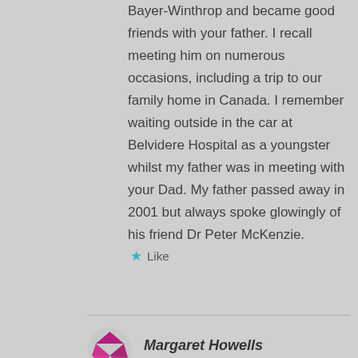Bayer-Winthrop and became good friends with your father. I recall meeting him on numerous occasions, including a trip to our family home in Canada. I remember waiting outside in the car at Belvidere Hospital as a youngster whilst my father was in meeting with your Dad. My father passed away in 2001 but always spoke glowingly of his friend Dr Peter McKenzie.
Like
Margaret Howells